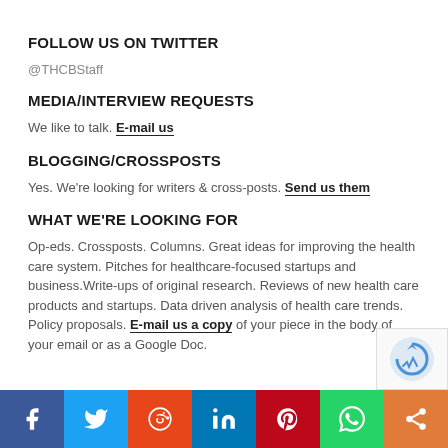FOLLOW US ON TWITTER
@THCBStaff
MEDIA/INTERVIEW REQUESTS
We like to talk. E-mail us
BLOGGING/CROSSPOSTS
Yes. We're looking for writers & cross-posts. Send us them
WHAT WE'RE LOOKING FOR
Op-eds. Crossposts. Columns. Great ideas for improving the health care system. Pitches for healthcare-focused startups and business.Write-ups of original research. Reviews of new health care products and startups. Data driven analysis of health care trends. Policy proposals. E-mail us a copy of your piece in the body of your email or as a Google Doc.
[Figure (infographic): Social sharing bar with icons for Facebook, Twitter, Reddit, LinkedIn, Pinterest, WhatsApp, and Share]